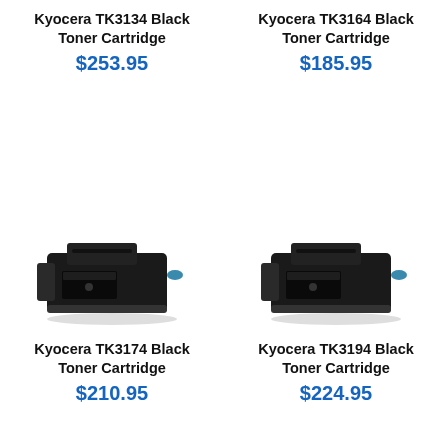Kyocera TK3134 Black Toner Cartridge
$253.95
Kyocera TK3164 Black Toner Cartridge
$185.95
[Figure (photo): Kyocera TK3174 Black Toner Cartridge product photo]
Kyocera TK3174 Black Toner Cartridge
$210.95
[Figure (photo): Kyocera TK3194 Black Toner Cartridge product photo]
Kyocera TK3194 Black Toner Cartridge
$224.95